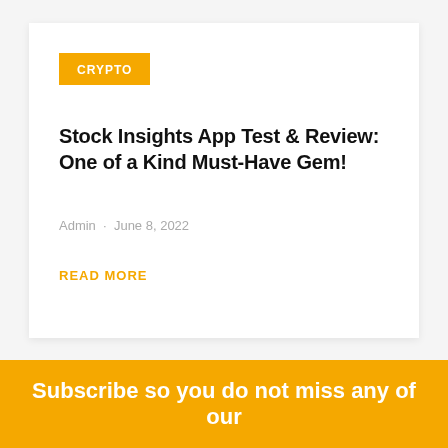CRYPTO
Stock Insights App Test & Review: One of a Kind Must-Have Gem!
Admin · June 8, 2022
READ MORE
Subscribe so you do not miss any of our